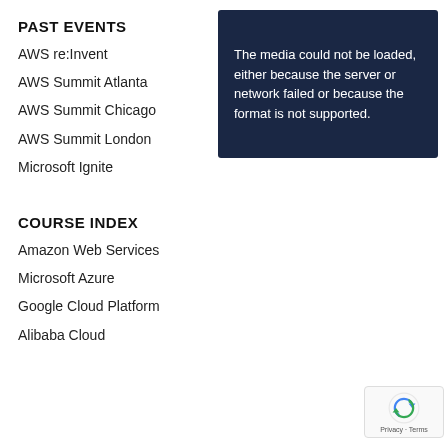PAST EVENTS
AWS re:Invent
AWS Summit Atlanta
AWS Summit Chicago
AWS Summit London
Microsoft Ignite
[Figure (screenshot): Video player showing error message: The media could not be loaded, either because the server or network failed or because the format is not supported.]
COURSE INDEX
Amazon Web Services
Microsoft Azure
Google Cloud Platform
Alibaba Cloud